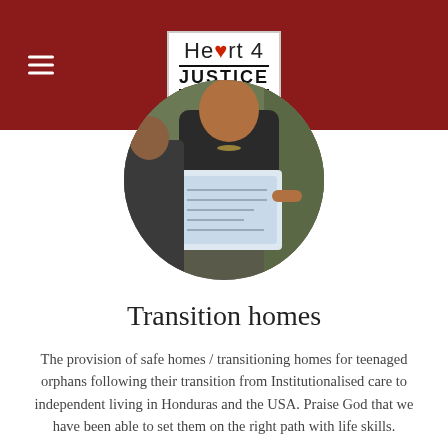Heart 4 Justice
[Figure (photo): A person holding a certificate, shown in a circular cropped photo]
Transition homes
The provision of safe homes / transitioning homes for teenaged orphans following their transition from Institutionalised care to independent living in Honduras and the USA. Praise God that we have been able to set them on the right path with life skills.